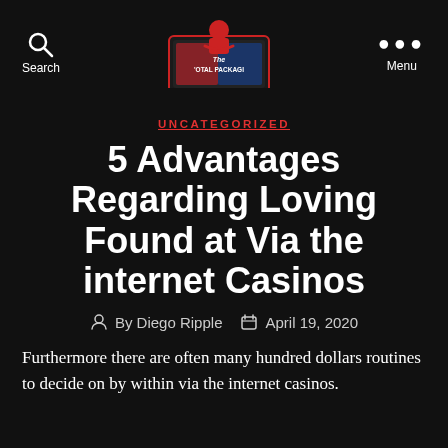Search | The Total Package | Menu
UNCATEGORIZED
5 Advantages Regarding Loving Found at Via the internet Casinos
By Diego Ripple   April 19, 2020
Furthermore there are often many hundred dollars routines to decide on by within via the internet casinos.